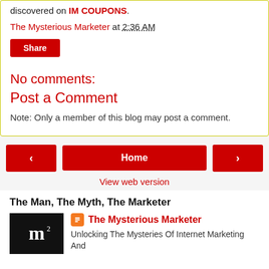discovered on IM COUPONS.
The Mysterious Marketer at 2:36 AM
Share
No comments:
Post a Comment
Note: Only a member of this blog may post a comment.
Home
View web version
The Man, The Myth, The Marketer
The Mysterious Marketer
Unlocking The Mysteries Of Internet Marketing And